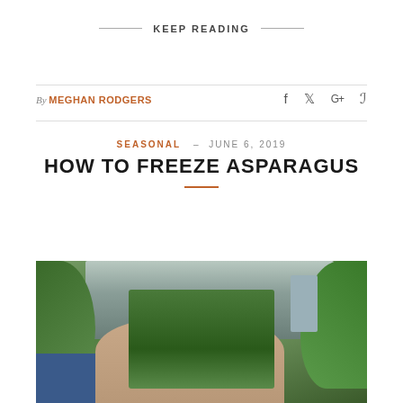KEEP READING
By MEGHAN RODGERS
SEASONAL  -  JUNE 6, 2019
HOW TO FREEZE ASPARAGUS
[Figure (photo): Hands holding a bunch of fresh asparagus being washed under a kitchen sink faucet, with green basil plants visible on either side]